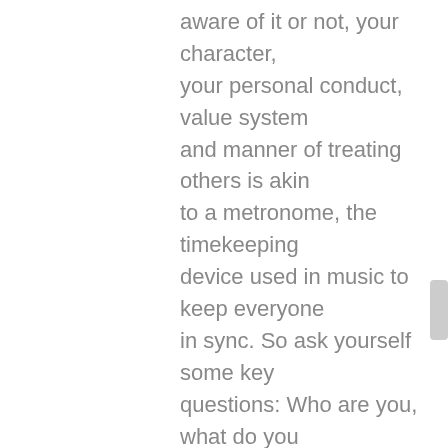aware of it or not, your character, your personal conduct, value system and manner of treating others is akin to a metronome, the timekeeping device used in music to keep everyone in sync. So ask yourself some key questions: Who are you, what do you stand for, what drives you? How do you treat others? Are you a person of your word? Can you be trusted? Do you come across as friendly, approachable, aloof, firm but fair? What is your prefered style of communicating? Are you formal, structured, agenda-led, walk around the floor? How do people interact with you and react to you? What is your business ethos and how does it